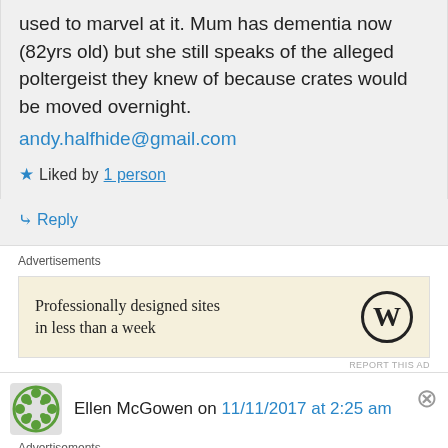used to marvel at it. Mum has dementia now (82yrs old) but she still speaks of the alleged poltergeist they knew of because crates would be moved overnight.
andy.halfhide@gmail.com
Liked by 1 person
Reply
Advertisements
[Figure (screenshot): WordPress advertisement: 'Professionally designed sites in less than a week' with WordPress logo]
REPORT THIS AD
Ellen McGowen on 11/11/2017 at 2:25 am
Advertisements
[Figure (screenshot): MAC Cosmetics advertisement showing lipsticks with 'SHOP NOW' button]